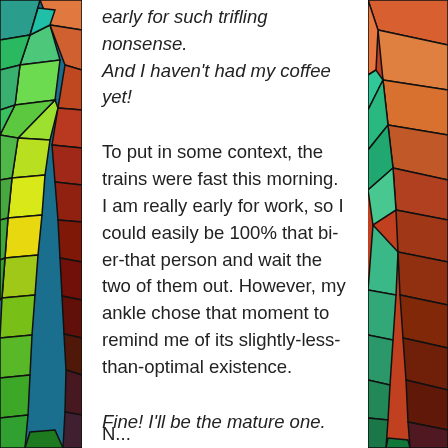[Figure (illustration): Colorful abstract mosaic/stained-glass style artwork forming the left and right border panels of the page]
early for such trifling nonsense. And I haven't had my coffee yet!
To put in some context, the trains were fast this morning. I am really early for work, so I could easily be 100% that bi-er-that person and wait the two of them out. However, my ankle chose that moment to remind me of its slightly-less-than-optimal existence.
Fine! I'll be the mature one.
N...